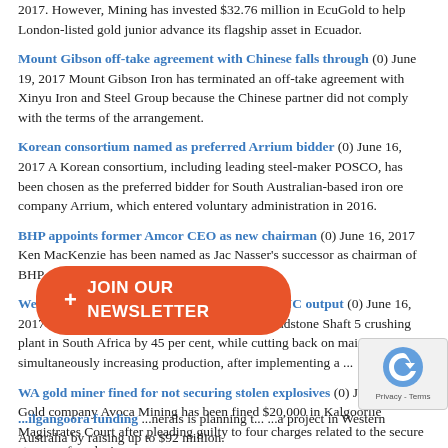2017. However, Mining has invested $32.76 million in EcuGold to help London-listed gold junior advance its flagship asset in Ecuador.
Mount Gibson off-take agreement with Chinese falls through (0) June 19, 2017 Mount Gibson Iron has terminated an off-take agreement with Xinyu Iron and Steel Group because the Chinese partner did not comply with the terms of the arrangement.
Korean consortium named as preferred Arrium bidder (0) June 16, 2017 A Korean consortium, including leading steel-maker POSCO, has been chosen as the preferred bidder for South Australian-based iron ore company Arrium, which entered voluntary administration in 2016.
BHP appoints former Amcor CEO as new chairman (0) June 16, 2017 Ken MacKenzie has been named as Jac Nasser's successor as chairman of BHP.
Weir Minerals process-focused solution lifts CNC output (0) June 16, 2017 CNC Crushers raised throughput at the Roadstone Shaft 5 crushing plant in South Africa by 45 per cent, while cutting back on maintenance and simultaneously increasing production, after implementing a ...
WA gold miner fined for not securing stolen explosives (0) June 16, 2017 Gold company Avoca Mining has been fined $20,000 in Kalgoorlie Magistrates Court after pleading guilty to four charges related to the secure storage of explosives.
...ilgangoora funding ...nerals is planning t... ...a project in Western Australia by raising up to $92 million.